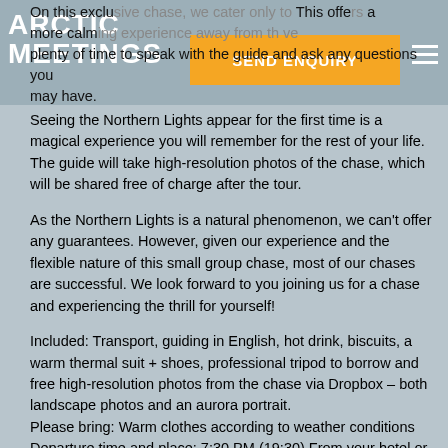ARCTIC MEETINGS
On this exclusive chase, we cater only to... This offers a more calming experience away from th... We give plenty of time to speak with the guide and ask any questions you may have.
Seeing the Northern Lights appear for the first time is a magical experience you will remember for the rest of your life. The guide will take high-resolution photos of the chase, which will be shared free of charge after the tour.
As the Northern Lights is a natural phenomenon, we can't offer any guarantees. However, given our experience and the flexible nature of this small group chase, most of our chases are successful. We look forward to you joining us for a chase and experiencing the thrill for yourself!
Included: Transport, guiding in English, hot drink, biscuits, a warm thermal suit + shoes, professional tripod to borrow and free high-resolution photos from the chase via Dropbox – both landscape photos and an aurora portrait.
Please bring: Warm clothes according to weather conditions
Departure time and place: 7:30 PM (19:30) From your hotel or